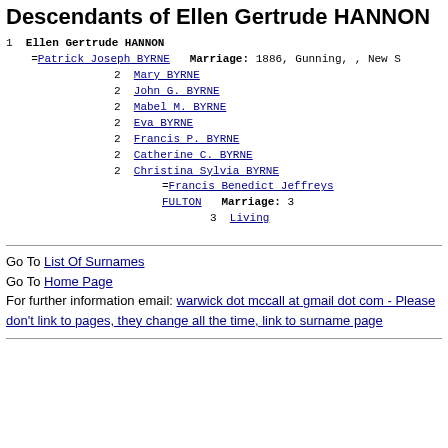Descendants of Ellen Gertrude HANNON
1 Ellen Gertrude HANNON
=Patrick Joseph BYRNE   Marriage: 1886, Gunning, , New S
2 Mary BYRNE
2 John G. BYRNE
2 Mabel M. BYRNE
2 Eva BYRNE
2 Francis P. BYRNE
2 Catherine C. BYRNE
2 Christina Sylvia BYRNE
=Francis Benedict Jeffreys FULTON   Marriage: 3
3 Living
Go To List Of Surnames
Go To Home Page
For further information email: warwick dot mccall at gmail dot com - Please don't link to pages, they change all the time, link to surname page